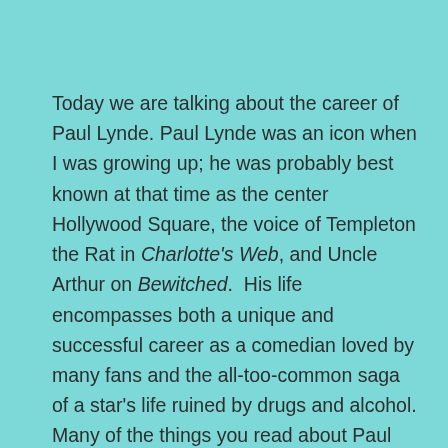Today we are talking about the career of Paul Lynde. Paul Lynde was an icon when I was growing up; he was probably best known at that time as the center Hollywood Square, the voice of Templeton the Rat in Charlotte's Web, and Uncle Arthur on Bewitched.  His life encompasses both a unique and successful career as a comedian loved by many fans and the all-too-common saga of a star's life ruined by drugs and alcohol. Many of the things you read about Paul Lynde concerning his behavior and cruel things he said to others are disheartening to a fan, but I learned that the characters I loved growing up (and continue to as an adult) are the characters, not the actors and actresses behind them. With a few exceptions, when Ford Mo Monroe di...